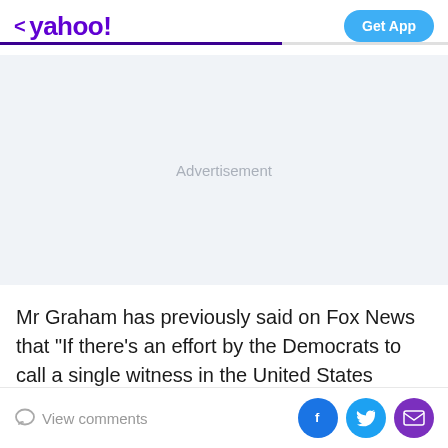< yahoo!  Get App
[Figure (other): Advertisement placeholder area with light blue-grey background and 'Advertisement' label in grey text]
Mr Graham has previously said on Fox News that "If there's an effort by the Democrats to call a single witness in the United States Senate... there will be delay of this
View comments  [Facebook] [Twitter] [Mail]